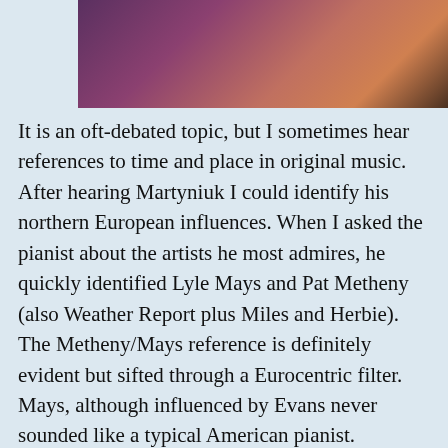[Figure (photo): A cropped photo of a musician performing, with purple and warm tones visible]
It is an oft-debated topic, but I sometimes hear references to time and place in original music. After hearing Martyniuk I could identify his northern European influences. When I asked the pianist about the artists he most admires, he quickly identified Lyle Mays and Pat Metheny (also Weather Report plus Miles and Herbie). The Metheny/Mays reference is definitely evident but sifted through a Eurocentric filter. Mays, although influenced by Evans never sounded like a typical American pianist. Martyniuk's compositions and performance contain all of the hallmarks of modern Euro jazz, a sound I hear in the Alboran Trio, Wasilewski and younger pianists like Michal Tokaj. A warmer sound than the Scandinavian pianists but as light filled and airy.